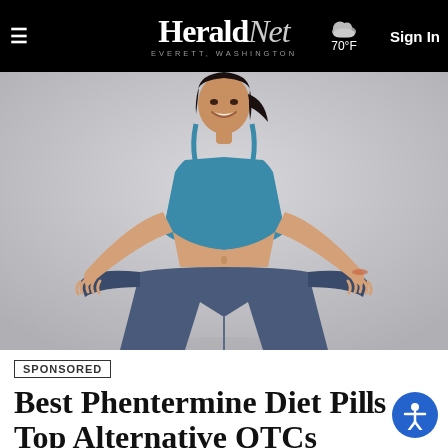HeraldNet — EVERETT, WASHINGTON — 70°F — Sign In
[Figure (photo): Woman smiling and holding out oversized jeans at the waist, wearing a blue crop top, showing weight loss results, on a grey background]
SPONSORED
Best Phentermine Diet Pills Top Alternative OTC...